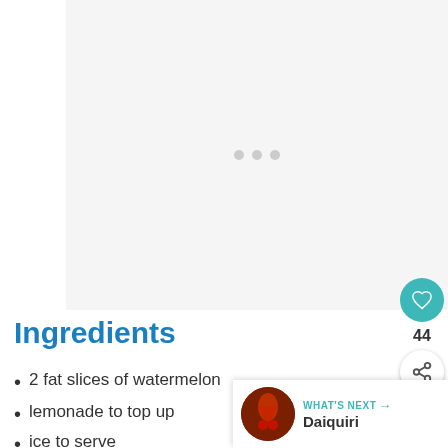[Figure (photo): Loading placeholder with three grey dots on light grey background]
Ingredients
2 fat slices of watermelon
lemonade to top up
ice to serve
[Figure (other): What's Next panel showing Daiquiri with thumbnail image]
[Figure (other): Heart/favourite button showing count 44 and share button]